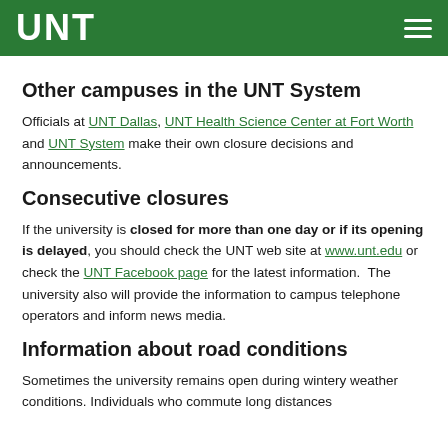UNT
Other campuses in the UNT System
Officials at UNT Dallas, UNT Health Science Center at Fort Worth and UNT System make their own closure decisions and announcements.
Consecutive closures
If the university is closed for more than one day or if its opening is delayed, you should check the UNT web site at www.unt.edu or check the UNT Facebook page for the latest information.  The university also will provide the information to campus telephone operators and inform news media.
Information about road conditions
Sometimes the university remains open during wintery weather conditions. Individuals who commute long distances